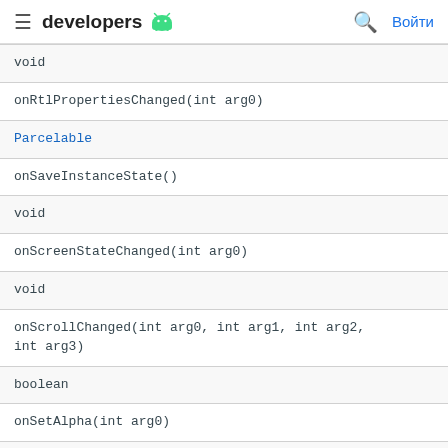developers
| void |
| onRtlPropertiesChanged(int arg0) |
| Parcelable |
| onSaveInstanceState() |
| void |
| onScreenStateChanged(int arg0) |
| void |
| onScrollChanged(int arg0, int arg1, int arg2, int arg3) |
| boolean |
| onSetAlpha(int arg0) |
| void |
| onSizeChanged(int arg0, int arg1, int arg2, int arg3) |